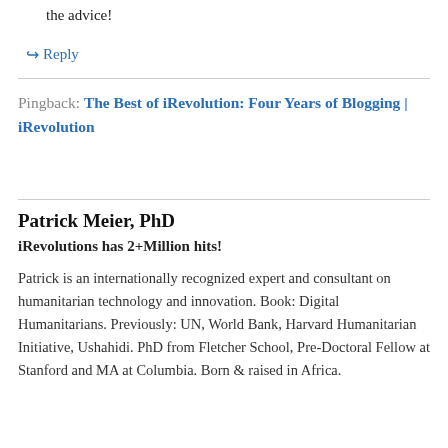the advice!
↳ Reply
Pingback: The Best of iRevolution: Four Years of Blogging | iRevolution
Patrick Meier, PhD
iRevolutions has 2+Million hits!
Patrick is an internationally recognized expert and consultant on humanitarian technology and innovation. Book: Digital Humanitarians. Previously: UN, World Bank, Harvard Humanitarian Initiative, Ushahidi. PhD from Fletcher School, Pre-Doctoral Fellow at Stanford and MA at Columbia. Born & raised in Africa.